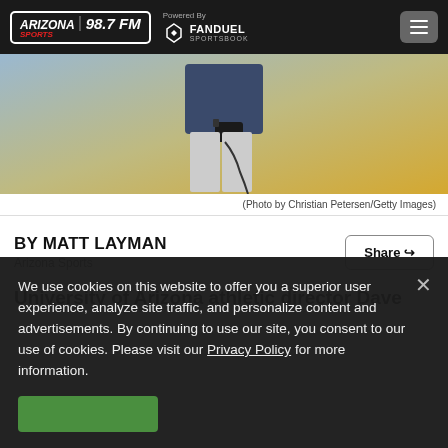[Figure (screenshot): Arizona Sports 98.7 FM website header with logo, Powered By FanDuel Sportsbook, and hamburger menu button on dark background]
[Figure (photo): Partial photo of a baseball player or umpire from waist down, with blurred yellow/gold crowd background]
(Photo by Christian Petersen/Getty Images)
BY MATT LAYMAN
Arizona Sports
University of Arizona athletic director Dave
We use cookies on this website to offer you a superior user experience, analyze site traffic, and personalize content and advertisements. By continuing to use our site, you consent to our use of cookies. Please visit our Privacy Policy for more information.